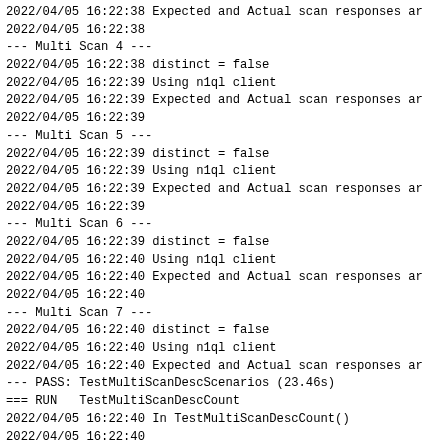2022/04/05 16:22:38 Expected and Actual scan responses ar
2022/04/05 16:22:38
--- Multi Scan 4 ---
2022/04/05 16:22:38 distinct = false
2022/04/05 16:22:39 Using n1ql client
2022/04/05 16:22:39 Expected and Actual scan responses ar
2022/04/05 16:22:39
--- Multi Scan 5 ---
2022/04/05 16:22:39 distinct = false
2022/04/05 16:22:39 Using n1ql client
2022/04/05 16:22:39 Expected and Actual scan responses ar
2022/04/05 16:22:39
--- Multi Scan 6 ---
2022/04/05 16:22:39 distinct = false
2022/04/05 16:22:40 Using n1ql client
2022/04/05 16:22:40 Expected and Actual scan responses ar
2022/04/05 16:22:40
--- Multi Scan 7 ---
2022/04/05 16:22:40 distinct = false
2022/04/05 16:22:40 Using n1ql client
2022/04/05 16:22:40 Expected and Actual scan responses ar
--- PASS: TestMultiScanDescScenarios (23.46s)
=== RUN   TestMultiScanDescCount
2022/04/05 16:22:40 In TestMultiScanDescCount()
2022/04/05 16:22:40

--------- Composite Index with 2 fields ---------
2022/04/05 16:22:40
--- ScanAllNoFilter ---
2022/04/05 16:22:40 distinct = false
2022/04/05 16:22:41 Using n1ql client